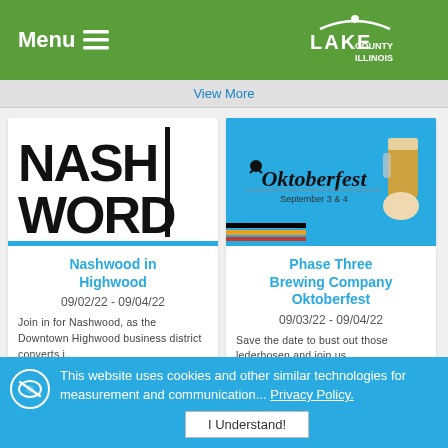Menu ≡ | Lake County Illinois
View More
[Figure (logo): Nashwood logo in bold black stylized text]
Nashwood in Highwood
09/02/22 - 09/04/22
Join in for Nashwood, as the Downtown Highwood business district converts i...
[Figure (illustration): Oktoberfest banner on blue background with beer glass illustration. Text: Oktoberfest September 3 & 4]
Phase Three Brewing Company Oktoberfest
09/03/22 - 09/04/22
Save the date to bust out those lederhosen and join us
This website uses cookies and other similar technologies for measurement and communication... Privacy Policy.
I Understand!